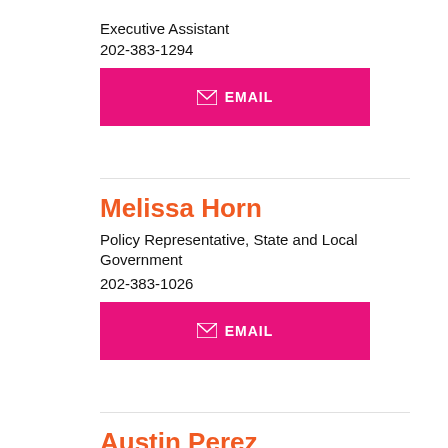Executive Assistant
202-383-1294
[Figure (other): Pink EMAIL button with envelope icon]
Melissa Horn
Policy Representative, State and Local Government
202-383-1026
[Figure (other): Pink EMAIL button with envelope icon]
Austin Perez
Senior Policy Representative, Insurance Issues
202-383-1046
[Figure (other): Pink EMAIL button with envelope icon]